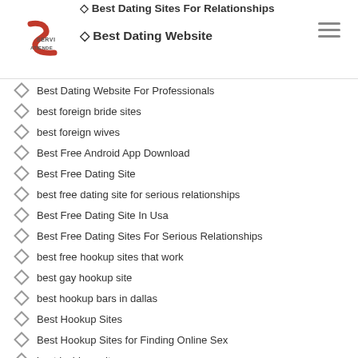Best Dating Sites For Relationships | Best Dating Website
[Figure (logo): ServiAtiende logo - red S shape with text SERVI ATIENDE]
Best Dating Website For Professionals
best foreign bride sites
best foreign wives
Best Free Android App Download
Best Free Dating Site
best free dating site for serious relationships
Best Free Dating Site In Usa
Best Free Dating Sites For Serious Relationships
best free hookup sites that work
best gay hookup site
best hookup bars in dallas
Best Hookup Sites
Best Hookup Sites for Finding Online Sex
best lesbians site
Best On Line Dating
Best Online Bad Credit In Idaho